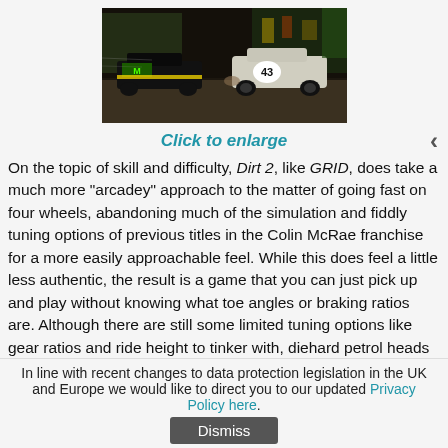[Figure (photo): Rally car with number 43 and Monster Energy livery racing on track, screenshot from Dirt 2 video game]
Click to enlarge
On the topic of skill and difficulty, Dirt 2, like GRID, does take a much more „arcadey“ approach to the matter of going fast on four wheels, abandoning much of the simulation and fiddly tuning options of previous titles in the Colin McRae franchise for a more easily approachable feel. While this does feel a little less authentic, the result is a game that you can just pick up and play without knowing what toe angles or braking ratios are. Although there are still some limited tuning options like gear ratios and ride height to tinker with, diehard petrol heads will no
In line with recent changes to data protection legislation in the UK and Europe we would like to direct you to our updated Privacy Policy here.
Dismiss